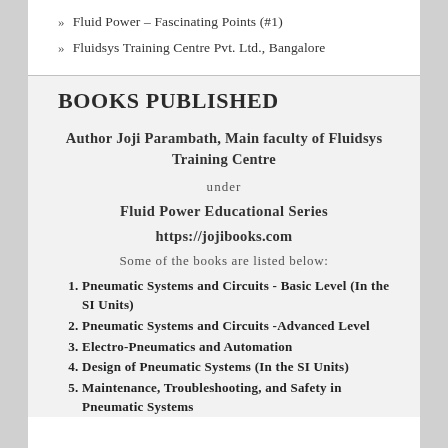Fluid Power – Fascinating Points (#1)
Fluidsys Training Centre Pvt. Ltd., Bangalore
BOOKS PUBLISHED
Author Joji Parambath, Main faculty of Fluidsys Training Centre
under
Fluid Power Educational Series
https://jojibooks.com
Some of the books are listed below:
Pneumatic Systems and Circuits - Basic Level (In the SI Units)
Pneumatic Systems and Circuits -Advanced Level
Electro-Pneumatics and Automation
Design of Pneumatic Systems (In the SI Units)
Maintenance, Troubleshooting, and Safety in Pneumatic Systems